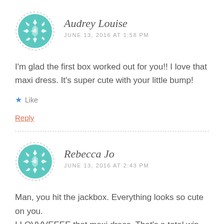[Figure (illustration): Round avatar with teal geometric quilt/mandala pattern, dashed circle border]
Audrey Louise
JUNE 13, 2016 AT 1:58 PM
I'm glad the first box worked out for you!! I love that maxi dress. It's super cute with your little bump!
Like
Reply
[Figure (illustration): Round avatar with teal geometric quilt/mandala pattern, dashed circle border]
Rebecca Jo
JUNE 13, 2016 AT 2:43 PM
Man, you hit the jackbox. Everything looks so cute on you.
I LOVVVEEEE that maxi dress. That's a total win for even